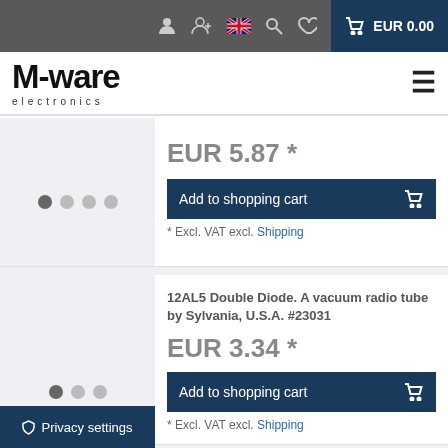M-ware electronics | EUR 0.00
EUR 5.87 *
Add to shopping cart
* Excl. VAT excl. Shipping
12AL5 Double Diode. A vacuum radio tube by Sylvania, U.S.A. #23031
EUR 3.34 *
Add to shopping cart
* Excl. VAT excl. Shipping
12AU6 Pentode. A vacuum radio tube by Miniwatt #19734
EUR 7.55 *
Add to shopping cart
Privacy settings